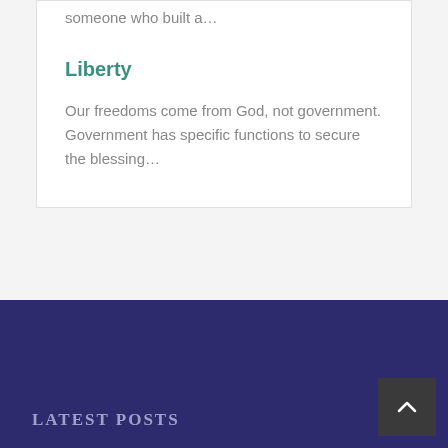someone who built a…
Liberty
Our freedoms come from God, not government. Government has specific functions to secure the blessing…
LATEST POSTS